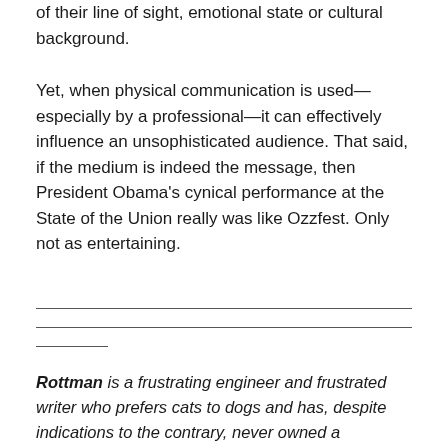of their line of sight, emotional state or cultural background.
Yet, when physical communication is used—especially by a professional—it can effectively influence an unsophisticated audience. That said, if the medium is indeed the message, then President Obama's cynical performance at the State of the Union really was like Ozzfest. Only not as entertaining.
Rottman is a frustrating engineer and frustrated writer who prefers cats to dogs and has, despite indications to the contrary, never owned a Rottweiler. A conservative with Libertarian leanings, he believes people should be left